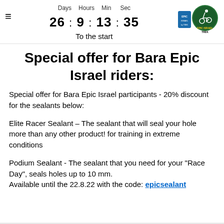Days 26 : Hours 9 : Min 13 : Sec 35 To the start
Special offer for Bara Epic Israel riders:
Special offer for Bara Epic Israel participants - 20% discount for the sealants below:
Elite Racer Sealant – The sealant that will seal your hole more than any other product! for training in extreme conditions
Podium Sealant - The sealant that you need for your "Race Day", seals holes up to 10 mm. Available until the 22.8.22 with the code: epicsealant